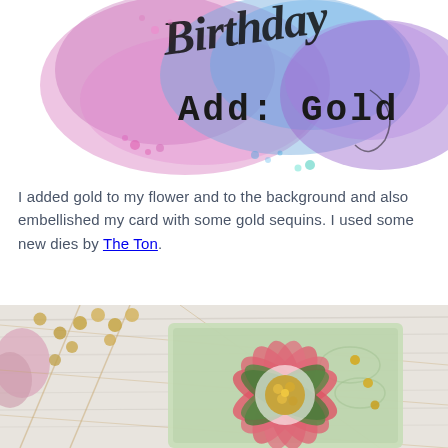[Figure (illustration): Watercolor splash background in pink, purple, and blue with handwritten script 'Birthday' and typewriter-style text 'Add: Gold' overlaid]
I added gold to my flower and to the background and also embellished my card with some gold sequins. I used some new dies by The Ton.
[Figure (photo): Photo of a handmade greeting card featuring a large pink poinsettia flower with green leaves and gold sequins at center, mounted on a green textured card, surrounded by gold pearl beads, twine stars, and a light pink flower on a white wood background]